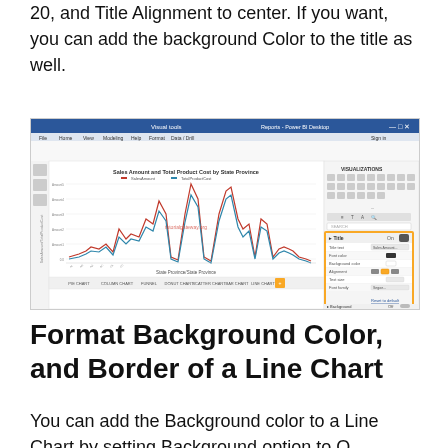20, and Title Alignment to center. If you want, you can add the background Color to the title as well.
[Figure (screenshot): Screenshot of Power BI Desktop showing a line chart titled 'Sales Amount and Total Product Cost by State Province' with two line series (red and teal/green) displaying multiple peaks across state provinces. The right panel shows VISUALIZATIONS settings with Title options highlighted in a yellow rectangle box, showing settings for Title, Title text, Font color, Background color, Alignment, Text size, Font family, and Reset to default. The bottom shows chart type tabs including PIE CHART, COLUMN CHART, FUNNEL, DONUT CHART, SCATTER CHART, BAR CHART, LINE CHART.]
Format Background Color, and Border of a Line Chart
You can add the Background color to a Line Chart by setting Background option to O...